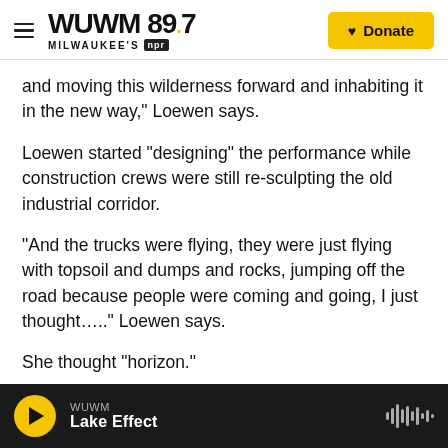WUWM 89.7 Milwaukee's NPR | Donate
and moving this wilderness forward and inhabiting it in the new way,” Loewen says.
Loewen started “designing” the performance while construction crews were still re-sculpting the old industrial corridor.
“And the trucks were flying, they were just flying with topsoil and dumps and rocks, jumping off the road because people were coming and going, I just thought…..” Loewen says.
She thought “horizon.”
WUWM Lake Effect